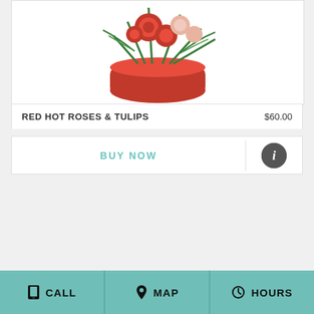[Figure (photo): Red hot roses and tulips flower arrangement in a red container with greenery, top portion visible]
RED HOT ROSES & TULIPS  $60.00
BUY NOW
[Figure (photo): White flower basket arrangement with white gerbera daisies, white stock flowers, and green herbs/foliage in a wicker basket]
CALL  MAP  HOURS